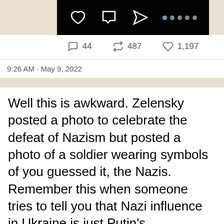[Figure (screenshot): Bottom portion of an Instagram post showing action bar with heart, comment, send, and more icons on black background, followed by engagement counts: 44 comments, 487 retweets, 1,197 likes]
9:26 AM · May 9, 2022
Well this is awkward. Zelensky posted a photo to celebrate the defeat of Nazism but posted a photo of a soldier wearing symbols of you guessed it, the Nazis. Remember this when someone tries to tell you that Nazi influence in Ukraine is just Putin's propaganda. #VictoryDay